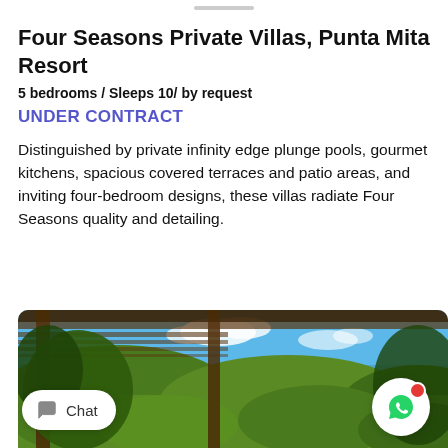Four Seasons Private Villas, Punta Mita Resort
5 bedrooms / Sleeps 10/ by request
UNDER CONTRACT
Distinguished by private infinity edge plunge pools, gourmet kitchens, spacious covered terraces and patio areas, and inviting four-bedroom designs, these villas radiate Four Seasons quality and detailing.
[Figure (photo): Outdoor terrace/pergola view with wooden beams framing a scenic tropical landscape and ocean/lake in the background under a partly cloudy blue sky.]
Chat